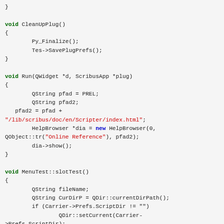Code snippet showing C++ functions: CleanUpPlug(), Run(QWidget *d, ScribusApp *plug), and MenuTest::slotTest() with syntax highlighting